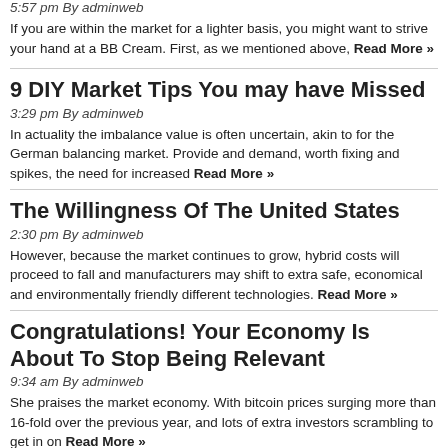5:57 pm By adminweb
If you are within the market for a lighter basis, you might want to strive your hand at a BB Cream. First, as we mentioned above, Read More »
9 DIY Market Tips You may have Missed
3:29 pm By adminweb
In actuality the imbalance value is often uncertain, akin to for the German balancing market. Provide and demand, worth fixing and spikes, the need for increased Read More »
The Willingness Of The United States
2:30 pm By adminweb
However, because the market continues to grow, hybrid costs will proceed to fall and manufacturers may shift to extra safe, economical and environmentally friendly different technologies. Read More »
Congratulations! Your Economy Is About To Stop Being Relevant
9:34 am By adminweb
She praises the market economy. With bitcoin prices surging more than 16-fold over the previous year, and lots of extra investors scrambling to get in on Read More »